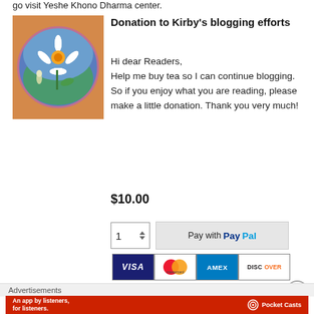go visit Yeshe Khono Dharma center.
Donation to Kirby's blogging efforts
[Figure (illustration): Circular artwork showing a daisy flower on a blue-green background, set on an orange/tan square canvas.]
Hi dear Readers,
Help me buy tea so I can continue blogging. So if you enjoy what you are reading, please make a little donation. Thank you very much!
$10.00
1  Pay with PayPal
VISA  mastercard  AMEX  DISCOVER
Advertisements
[Figure (screenshot): Red advertisement banner for Pocket Casts app: 'An app by listeners, for listeners.']